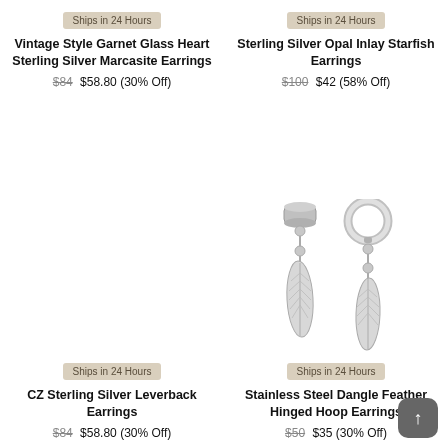Ships in 24 Hours
Vintage Style Garnet Glass Heart Sterling Silver Marcasite Earrings
$84  $58.80 (30% Off)
Ships in 24 Hours
Sterling Silver Opal Inlay Starfish Earrings
$100  $42 (58% Off)
[Figure (photo): Stainless Steel Dangle Feather Hinged Hoop Earrings product photo showing two silver hoop earrings with feather charms]
Ships in 24 Hours
CZ Sterling Silver Leverback Earrings
$84  $58.80 (30% Off)
Ships in 24 Hours
Stainless Steel Dangle Feather Hinged Hoop Earrings
$50  $35 (30% Off)